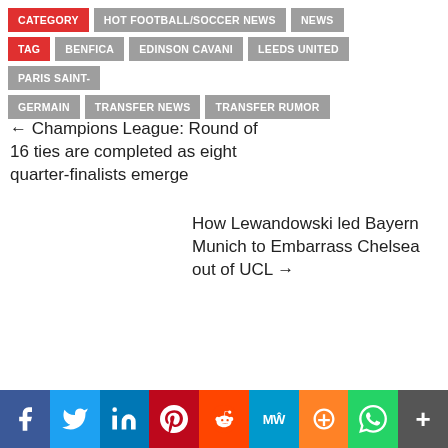CATEGORY  HOT FOOTBALL/SOCCER NEWS  NEWS
TAG  BENFICA  EDINSON CAVANI  LEEDS UNITED  PARIS SAINT-GERMAIN  TRANSFER NEWS  TRANSFER RUMOR
← Champions League: Round of 16 ties are completed as eight quarter-finalists emerge
How Lewandowski led Bayern Munich to Embarrass Chelsea out of UCL →
Social share bar: Facebook, Twitter, LinkedIn, Pinterest, Reddit, MeWe, Mix, WhatsApp, More